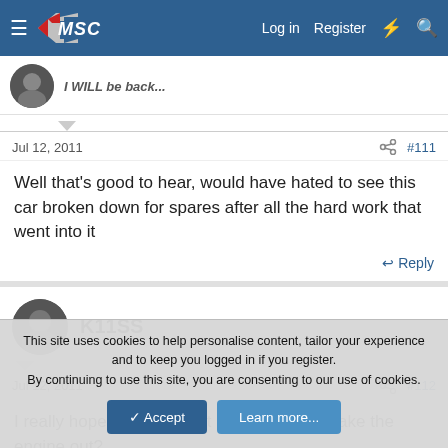MSC — Log in  Register
I WILL be back...
Jul 12, 2011  #111
Well that's good to hear, would have hated to see this car broken down for spares after all the hard work that went into it
Reply
K11SS
Jul 12, 2011  #112
I really hope this car is not broken! Maybe take the engine out?
This site uses cookies to help personalise content, tailor your experience and to keep you logged in if you register.
By continuing to use this site, you are consenting to our use of cookies.